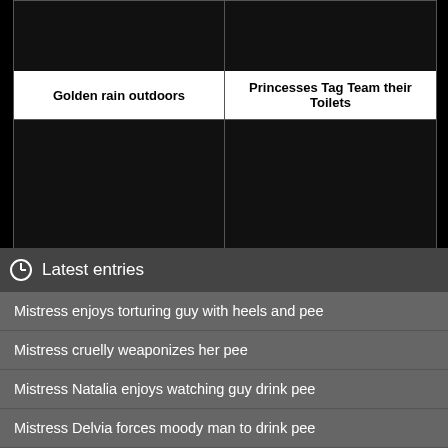[Figure (other): Top-left video thumbnail (black)]
[Figure (other): Top-right video thumbnail (black)]
Golden rain outdoors
Princesses Tag Team their Toilets
[Figure (other): Bottom-left video thumbnail (black)]
[Figure (other): Bottom-right video thumbnail (black)]
Latest entries
Mistress enjoys torturing guy with heels and pee
Mistress cruelly weaponizes her pee
Mistress Natalia enjoys watching guy drink pee
Mistress Delvia forces moody man to drink pee
Goddess Antonella force slave to drink urine
Mistress Mystique facesits guy and makes him drink pee
Madame Ellen uses pee to degrade